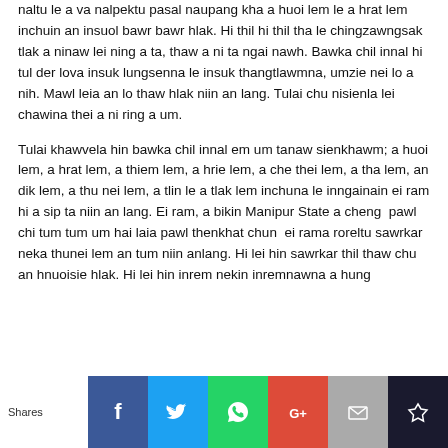naltu le a va nalpektu pasal naupang kha a huoi lem le a hrat lem inchuin an insuol bawr bawr hlak. Hi thil hi thil tha le chingzawngsak tlak a ninaw lei ning a ta, thaw a ni ta ngai nawh. Bawka chil innal hi tul der lova insuk lungsenna le insuk thangtlawmna, umzie nei lo a nih. Mawl leia an lo thaw hlak niin an lang. Tulai chu nisienla lei chawina thei a ni ring a um.
Tulai khawvela hin bawka chil innal em um tanaw sienkhawm; a huoi lem, a hrat lem, a thiem lem, a hrie lem, a che thei lem, a tha lem, an dik lem, a thu nei lem, a tlin le a tlak lem inchuna le inngainain ei ram hi a sip ta niin an lang. Ei ram, a bikin Manipur State a cheng  pawl chi tum tum um hai laia pawl thenkhat chun  ei rama roreltu sawrkar neka thunei lem an tum niin anlang. Hi lei hin sawrkar thil thaw chu an hnuoisie hlak. Hi lei hin inrem nekin inremnawna a hung
[Figure (infographic): Social sharing bar with Shares label and icons for Facebook, Twitter, WhatsApp, Google+, Email, and a crown/bookmark icon]